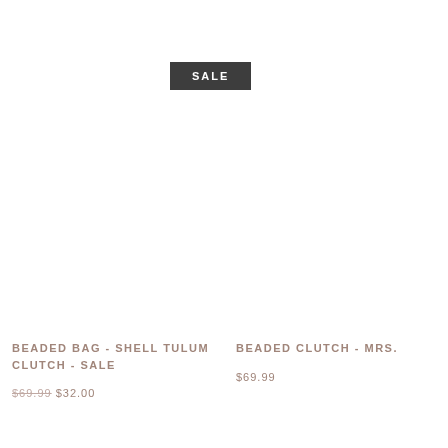SALE
BEADED BAG - SHELL TULUM CLUTCH - SALE
$69.99 $32.00
BEADED CLUTCH - MRS.
$69.99